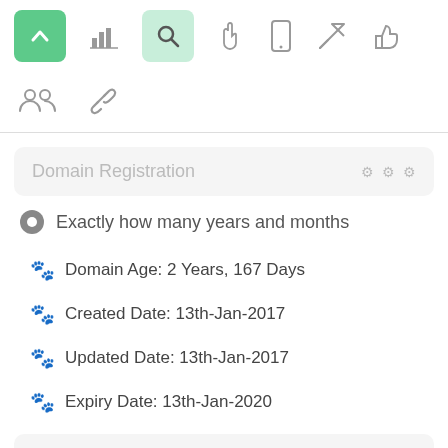[Figure (screenshot): Navigation toolbar with icons: green home/up button, bar chart icon, green search icon (active), hand/pointer icon, mobile phone icon, rocket/send icon, thumbs-up icon, group/people icon, link icon]
Domain Registration
Exactly how many years and months
Domain Age: 2 Years, 167 Days
Created Date: 13th-Jan-2017
Updated Date: 13th-Jan-2017
Expiry Date: 13th-Jan-2020
WHOIS Data